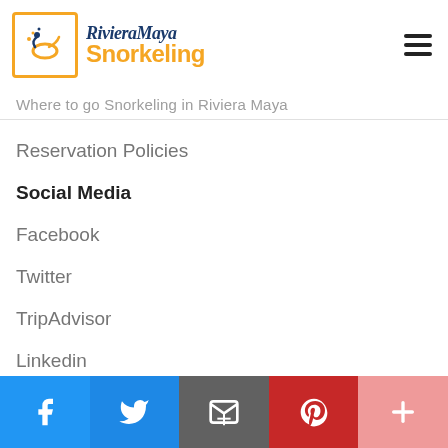[Figure (logo): Riviera Maya Snorkeling logo with snorkel diver icon in orange border box, 'RivieraMaya' in dark blue italic serif font and 'Snorkeling' in orange bold sans-serif font, hamburger menu icon on right]
Where to go Snorkeling in Riviera Maya
Reservation Policies
Social Media
Facebook
Twitter
TripAdvisor
Linkedin
Pinterest
Google Maps
[Figure (infographic): Social sharing bar with Facebook (blue), Twitter (blue), Email/share (grey), Pinterest (red), More (light red) buttons with white icons]